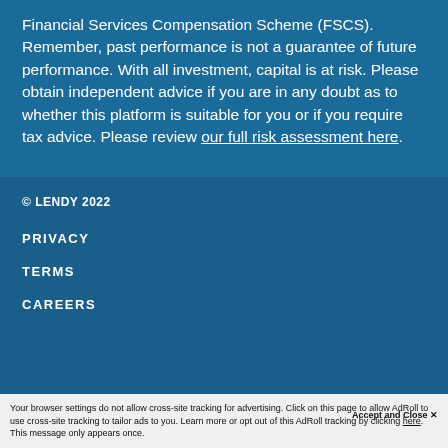Financial Services Compensation Scheme (FSCS). Remember, past performance is not a guarantee of future performance. With all investment, capital is at risk. Please obtain independent advice if you are in any doubt as to whether this platform is suitable for you or if you require tax advice. Please review our full risk assessment here.
© LENDY 2022
PRIVACY
TERMS
CAREERS
Your browser settings do not allow cross-site tracking for advertising. Click on this page to allow AdRoll to use cross-site tracking to tailor ads to you. Learn more or opt out of this AdRoll tracking by clicking here. This message only appears once.